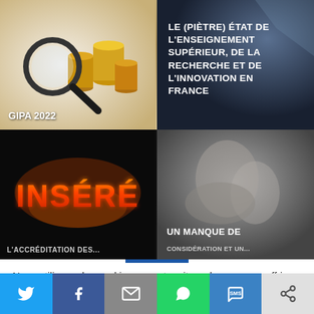[Figure (photo): Photo of stacked gold coins with a magnifying glass on white background, labeled GIPA 2022]
[Figure (photo): Dark blue abstract background with white bold text: LE (PIÈTRE) ÉTAT DE L'ENSEIGNEMENT SUPÉRIEUR, DE LA RECHERCHE ET DE L'INNOVATION EN FRANCE]
[Figure (photo): Dark background with fiery orange text spelling INSÉRÉ, partially cropped article thumbnail about accreditation]
[Figure (photo): Black and white photo of hands, with text UN MANQUE DE CONSIDÉRATION ET... partially visible]
Nous utilisons des cookies sur notre site web pour vous offrir une expérience plus pertinente en mémorisant vos préférences et vos visites répétées. En cliquant sur "Accepter", vous consentez à l'utilisation de TOUS les cookies.
[Figure (infographic): Social sharing bar with Twitter (blue), Facebook (dark blue), Email (grey), WhatsApp (green), SMS (blue), Share (light grey) icon buttons]